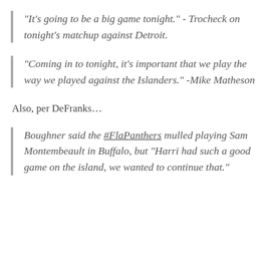“It’s going to be a big game tonight.” - Trocheck on tonight’s matchup against Detroit.
“Coming in to tonight, it’s important that we play the way we played against the Islanders.” -Mike Matheson
Also, per DeFranks…
Boughner said the #FlaPanthers mulled playing Sam Montembeault in Buffalo, but “Harri had such a good game on the island, we wanted to continue that.”